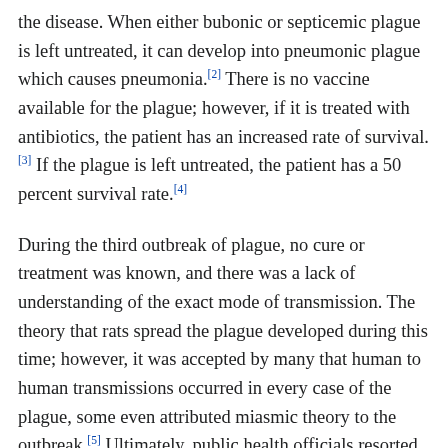the disease. When either bubonic or septicemic plague is left untreated, it can develop into pneumonic plague which causes pneumonia.[2] There is no vaccine available for the plague; however, if it is treated with antibiotics, the patient has an increased rate of survival. [3] If the plague is left untreated, the patient has a 50 percent survival rate.[4]
During the third outbreak of plague, no cure or treatment was known, and there was a lack of understanding of the exact mode of transmission. The theory that rats spread the plague developed during this time; however, it was accepted by many that human to human transmissions occurred in every case of the plague, some even attributed miasmic theory to the outbreak.[5] Ultimately, public health officials resorted to the methods used in past pandemics. These methods included quarantining and the burning homes and belongings of victims, forcing them to relocate, in order to stop human to human